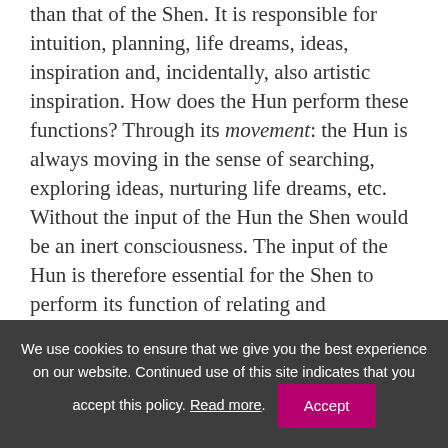than that of the Shen. It is responsible for intuition, planning, life dreams, ideas, inspiration and, incidentally, also artistic inspiration. How does the Hun perform these functions? Through its movement: the Hun is always moving in the sense of searching, exploring ideas, nurturing life dreams, etc. Without the input of the Hun the Shen would be an inert consciousness. The input of the Hun is therefore essential for the Shen to perform its function of relating and connectedness with others. Again, this is the Chinese medicine equivalent of the function of mirror neurons.
We use cookies to ensure that we give you the best experience on our website. Continued use of this site indicates that you accept this policy. Read more. Accept